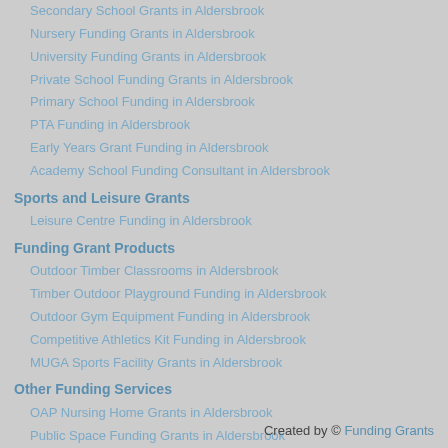Secondary School Grants in Aldersbrook
Nursery Funding Grants in Aldersbrook
University Funding Grants in Aldersbrook
Private School Funding Grants in Aldersbrook
Primary School Funding in Aldersbrook
PTA Funding in Aldersbrook
Early Years Grant Funding in Aldersbrook
Academy School Funding Consultant in Aldersbrook
Sports and Leisure Grants
Leisure Centre Funding in Aldersbrook
Funding Grant Products
Outdoor Timber Classrooms in Aldersbrook
Timber Outdoor Playground Funding in Aldersbrook
Outdoor Gym Equipment Funding in Aldersbrook
Competitive Athletics Kit Funding in Aldersbrook
MUGA Sports Facility Grants in Aldersbrook
Other Funding Services
OAP Nursing Home Grants in Aldersbrook
Public Space Funding Grants in Aldersbrook
Created by © Funding Grants